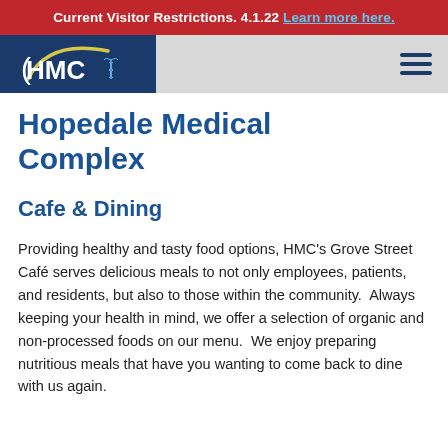Current Visitor Restrictions. 4.1.22 Learn more here.
[Figure (logo): HMC (Hopedale Medical Complex) logo — white HMC letters with caduceus symbol on dark blue background with yellow arc]
Hopedale Medical Complex
Cafe & Dining
Providing healthy and tasty food options, HMC's Grove Street Café serves delicious meals to not only employees, patients, and residents, but also to those within the community.  Always keeping your health in mind, we offer a selection of organic and non-processed foods on our menu.  We enjoy preparing nutritious meals that have you wanting to come back to dine with us again.